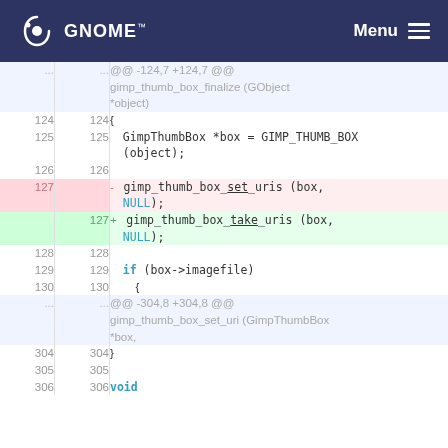GNOME  Menu
[Figure (screenshot): Code diff view showing changes in a C source file. Lines 124-130 and 304-306 are shown. Line 127 is deleted (gimp_thumb_box_set_uris) and replaced (gimp_thumb_box_take_uris). Context includes GimpThumbBox finalize function and gimp_thumb_box_set_uri function.]